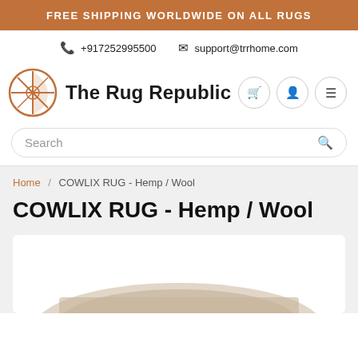FREE SHIPPING WORLDWIDE ON ALL RUGS
📞 +917252995500  ✉ support@trrhome.com
[Figure (logo): The Rug Republic logo: a circular geometric rug design in orange/brown with text 'The Rug Republic' beside it]
Search
Home / COWLIX RUG - Hemp / Wool
COWLIX RUG - Hemp / Wool
[Figure (photo): Partial product image showing a rug at the bottom, cut off]